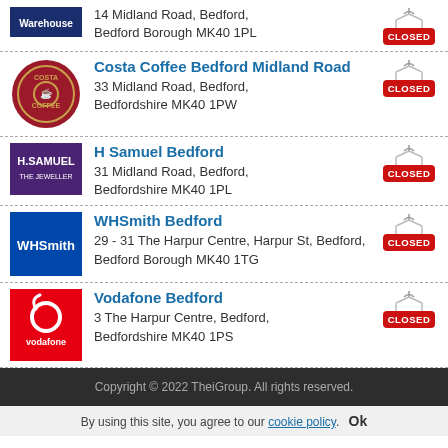14 Midland Road, Bedford, Bedford Borough MK40 1PL
Costa Coffee Bedford Midland Road
33 Midland Road, Bedford, Bedfordshire MK40 1PW
H Samuel Bedford
31 Midland Road, Bedford, Bedfordshire MK40 1PL
WHSmith Bedford
29 - 31 The Harpur Centre, Harpur St, Bedford, Bedford Borough MK40 1TG
Vodafone Bedford
3 The Harpur Centre, Bedford, Bedfordshire MK40 1PS
Copyright © 2022 TheiGroup. All rights reserved.
By using this site, you agree to our cookie policy. Ok